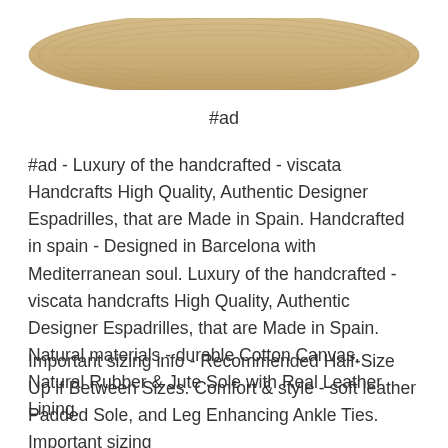[Figure (photo): Partial view of an espadrille shoe sole (jute/rope sole visible) from below, cropped at the top of the page]
#ad
#ad - Luxury of the handcrafted - viscata Handcrafts High Quality, Authentic Designer Espadrilles, that are Made in Spain. Handcrafted in spain - Designed in Barcelona with Mediterranean soul. Luxury of the handcrafted - viscata handcrafts High Quality, Authentic Designer Espadrilles, that are Made in Spain. Natural materials - durable Cotton Canvas, Natural Rubber & Jute Sole with Real Leather Lining.
Important sizing info - Recommended Half-Size Up if Between Sizes. Comfort & style - soft leather Padded Sole, and Leg Enhancing Ankle Ties. Important sizing